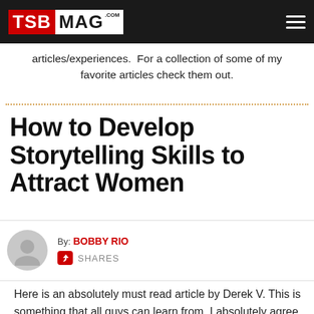TSB MAG .COM
articles/experiences.  For a collection of some of my favorite articles check them out.
How to Develop Storytelling Skills to Attract Women
By: BOBBY RIO
► SHARES
Here is an absolutely must read article by Derek V. This is something that all guys can learn from. I absolutely agree with what he says here!!